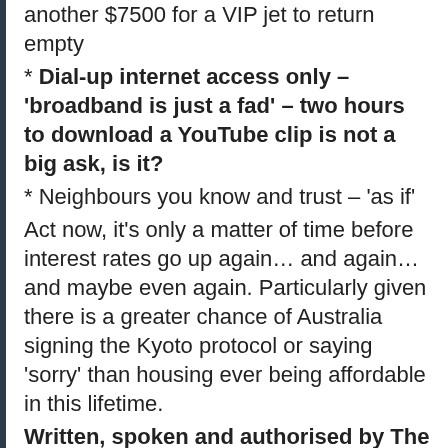another $7500 for a VIP jet to return empty
* Dial-up internet access only – 'broadband is just a fad' – two hours to download a YouTube clip is not a big ask, is it?
* Neighbours you know and trust – 'as if'
Act now, it's only a matter of time before interest rates go up again… and again… and maybe even again. Particularly given there is a greater chance of Australia signing the Kyoto protocol or saying 'sorry' than housing ever being affordable in this lifetime.
Written, spoken and authorised by The People of Australia for the People of Australia. Please note this advertisement was not funded by 70% of labour's union officials and did not cost taxpayers anything. Your money is only being used to pay for empty